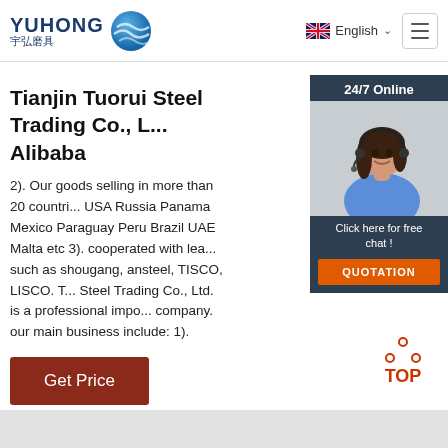[Figure (logo): YUHONG 宇弘磨具 logo with blue globe icon]
English
[Figure (other): Hamburger menu icon]
[Figure (other): 24/7 Online chat widget with woman wearing headset, Click here for free chat, QUOTATION button]
Tianjin Tuorui Steel Trading Co., L... Alibaba
2). Our goods selling in more than 20 countri... USA Russia Panama Mexico Paraguay Peru Brazil UAE Malta etc 3). cooperated with lea... such as shougang, ansteel, TISCO, LISCO. T... Steel Trading Co., Ltd. is a professional impo... company. our main business include: 1).
[Figure (other): Get Price button, dark red background]
[Figure (other): TOP button with red dot triangle logo]